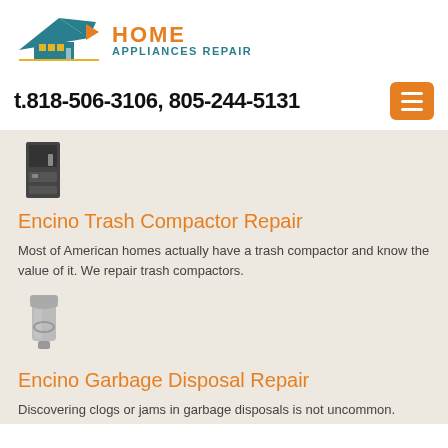[Figure (logo): Home Appliances Repair logo with house icon and brand name]
t.818-506-3106, 805-244-5131
[Figure (photo): Trash compactor appliance icon]
Encino Trash Compactor Repair
Most of American homes actually have a trash compactor and know the value of it. We repair trash compactors.
[Figure (photo): Garbage disposal appliance icon]
Encino Garbage Disposal Repair
Discovering clogs or jams in garbage disposals is not uncommon. Broken? Contact us for a professional garbage disposal repair service.